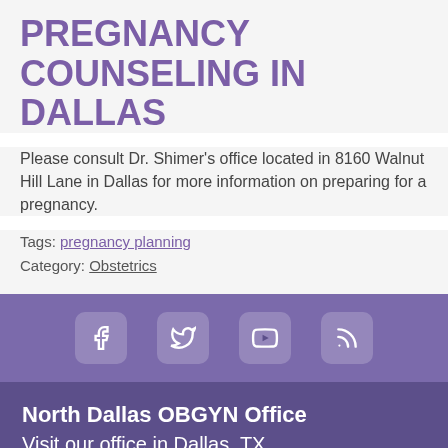PREGNANCY COUNSELING IN DALLAS
Please consult Dr. Shimer's office located in 8160 Walnut Hill Lane in Dallas for more information on preparing for a pregnancy.
Tags: pregnancy planning
Category: Obstetrics
[Figure (infographic): Social media icons bar with Facebook, Twitter, YouTube, and RSS icons on a purple background]
North Dallas OBGYN Office
Visit our office in Dallas, TX.
Tricia Shimer, M.D., P.A.
8160 Walnut Hill Ln